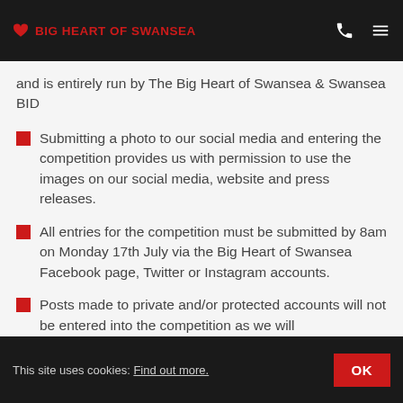BIG HEART OF SWANSEA
and is entirely run by The Big Heart of Swansea & Swansea BID
Submitting a photo to our social media and entering the competition provides us with permission to use the images on our social media, website and press releases.
All entries for the competition must be submitted by 8am on Monday 17th July via the Big Heart of Swansea Facebook page, Twitter or Instagram accounts.
Posts made to private and/or protected accounts will not be entered into the competition as we will
This site uses cookies: Find out more. OK